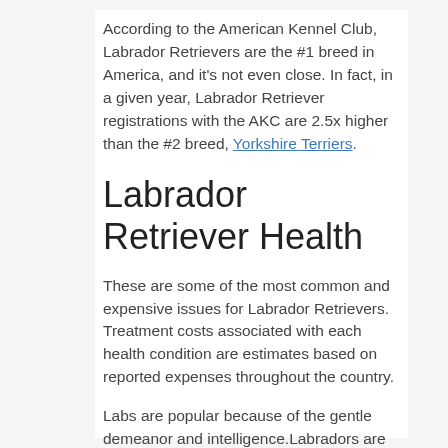According to the American Kennel Club, Labrador Retrievers are the #1 breed in America, and it's not even close. In fact, in a given year, Labrador Retriever registrations with the AKC are 2.5x higher than the #2 breed, Yorkshire Terriers.
Labrador Retriever Health
These are some of the most common and expensive issues for Labrador Retrievers. Treatment costs associated with each health condition are estimates based on reported expenses throughout the country.
Labs are popular because of the gentle demeanor and intelligence.Labradors are a very